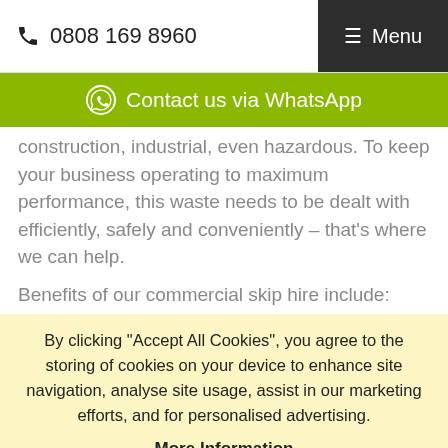📞 0808 169 8960  ☰ Menu
[Figure (infographic): Green WhatsApp contact bar with WhatsApp icon and text 'Contact us via WhatsApp']
construction, industrial, even hazardous. To keep your business operating to maximum performance, this waste needs to be dealt with efficiently, safely and conveniently – that's where we can help.
Benefits of our commercial skip hire include:
By clicking "Accept All Cookies", you agree to the storing of cookies on your device to enhance site navigation, analyse site usage, assist in our marketing efforts, and for personalised advertising.
More Information
Accept All Cookies